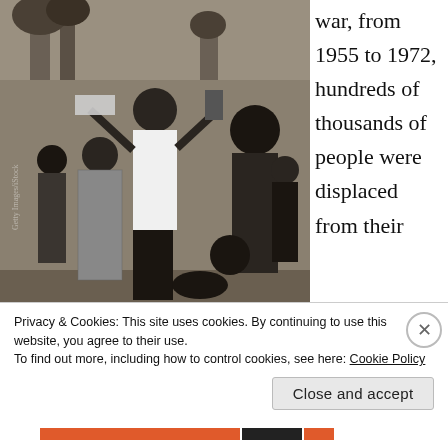[Figure (photo): Black and white photograph showing a group of people outdoors. A person in the center is holding up objects above their head. Several other people are visible around them in what appears to be a village or outdoor market setting.]
war, from 1955 to 1972, hundreds of thousands of people were displaced from their
Privacy & Cookies: This site uses cookies. By continuing to use this website, you agree to their use.
To find out more, including how to control cookies, see here: Cookie Policy
Close and accept